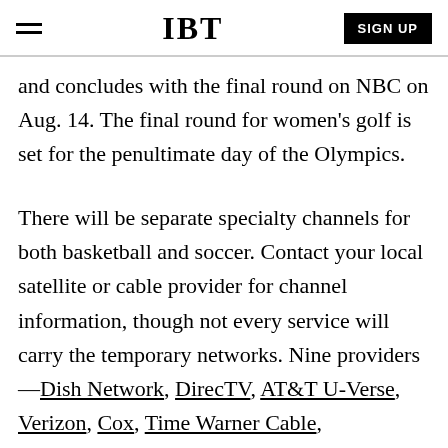IBT | SIGN UP
and concludes with the final round on NBC on Aug. 14. The final round for women’s golf is set for the penultimate day of the Olympics.
There will be separate specialty channels for both basketball and soccer. Contact your local satellite or cable provider for channel information, though not every service will carry the temporary networks. Nine providers—Dish Network, DirecTV, AT&T U-Verse, Verizon, Cox, Time Warner Cable, Cablevision, Suddenlink, Mediacom—should offer all the networks and will also have the basketball